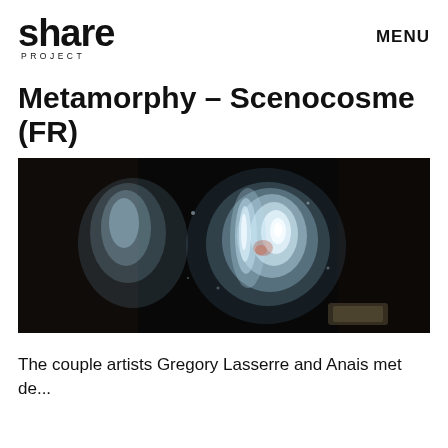share PROJECT | MENU
Metamorphy – Scenocosme (FR)
[Figure (photo): Dark artistic installation photo showing luminous cloud-like projections in blue and white against a black background, appearing to be a digital art display or light installation]
The couple artists Gregory Lasserre and Anais met de...